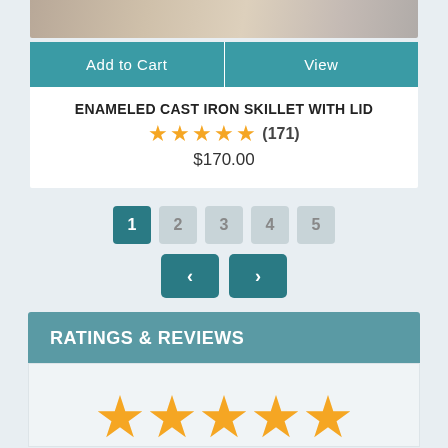[Figure (photo): Partial product photo showing a skillet/cookware item]
Add to Cart
View
ENAMELED CAST IRON SKILLET WITH LID
★★★★★ (171)
$170.00
1 2 3 4 5 < >
RATINGS & REVIEWS
[Figure (illustration): Five large orange star rating icons]